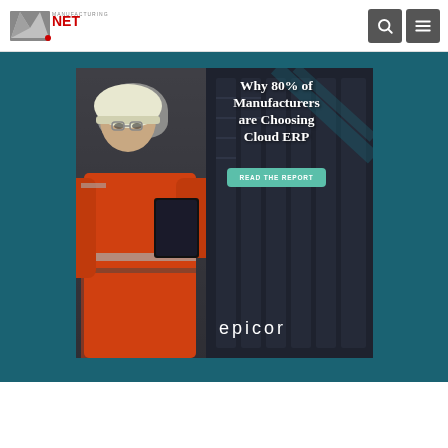[Figure (logo): Manufacturing.net logo in the navigation bar]
[Figure (infographic): Epicor advertisement: 'Why 80% of Manufacturers are Choosing Cloud ERP' with a female worker in orange hard hat holding a tablet, READ THE REPORT button, Epicor logo on teal/dark background]